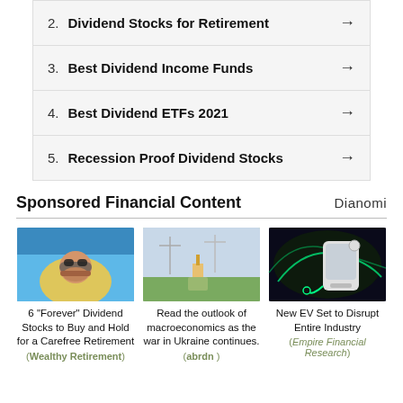2.  Dividend Stocks for Retirement →
3.  Best Dividend Income Funds →
4.  Best Dividend ETFs 2021 →
5.  Recession Proof Dividend Stocks →
Sponsored Financial Content
[Figure (photo): Older man relaxing on inflatable float in pool with headphones and sunglasses]
6 "Forever" Dividend Stocks to Buy and Hold for a Carefree Retirement
(Wealthy Retirement)
[Figure (photo): Worker in field with wind turbines and equipment, checking tablet]
Read the outlook of macroeconomics as the war in Ukraine continues.
(abrdn )
[Figure (photo): Electric vehicle charging with green glowing cables and futuristic design]
New EV Set to Disrupt Entire Industry
(Empire Financial Research)